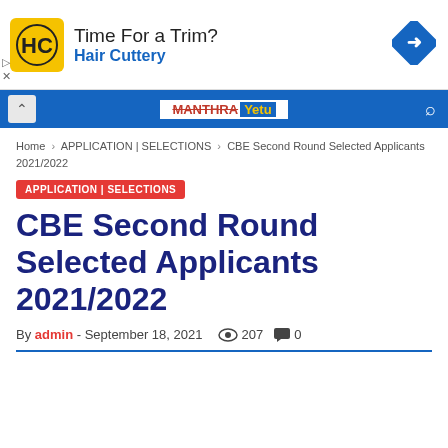[Figure (other): Hair Cuttery advertisement banner with yellow/black HC logo, 'Time For a Trim?' headline, 'Hair Cuttery' brand name in blue, and blue diamond navigation icon on right]
[Figure (other): Website navigation bar in blue with Manthra Yetu logo centered, chevron up arrow on left, search icon on right]
Home › APPLICATION | SELECTIONS › CBE Second Round Selected Applicants 2021/2022
APPLICATION | SELECTIONS
CBE Second Round Selected Applicants 2021/2022
By admin - September 18, 2021  207  0